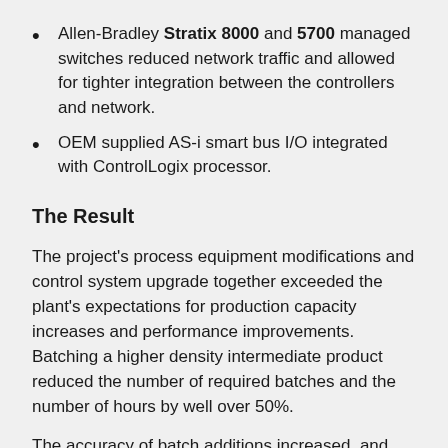Allen-Bradley Stratix 8000 and 5700 managed switches reduced network traffic and allowed for tighter integration between the controllers and network.
OEM supplied AS-i smart bus I/O integrated with ControlLogix processor.
The Result
The project's process equipment modifications and control system upgrade together exceeded the plant's expectations for production capacity increases and performance improvements. Batching a higher density intermediate product reduced the number of required batches and the number of hours by well over 50%.
The accuracy of batch additions increased, and there was a substantial reduction in corrective adjustments required for batches to meet QA specifications due largely to the batch